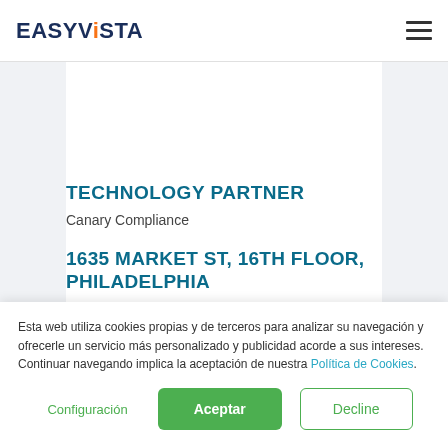EASYVISTA
TECHNOLOGY PARTNER
Canary Compliance
1635 MARKET ST, 16TH FLOOR, PHILADELPHIA
Esta web utiliza cookies propias y de terceros para analizar su navegación y ofrecerle un servicio más personalizado y publicidad acorde a sus intereses. Continuar navegando implica la aceptación de nuestra Política de Cookies.